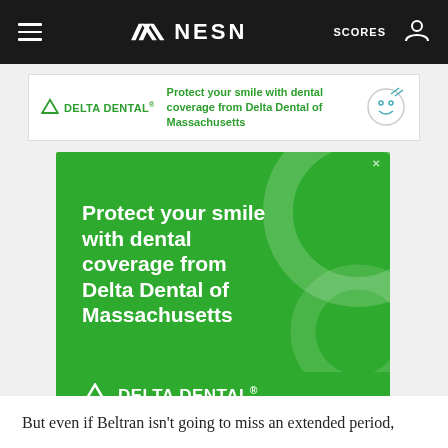NESN — SCORES
[Figure (illustration): Delta Dental banner advertisement: 'Protect your smile with dental coverage from Delta Dental of Massachusetts' with Delta Dental logo in green]
[Figure (illustration): Large green square Delta Dental advertisement: 'Protect your smile with dental coverage from Delta Dental of Massachusetts' with Delta Dental logo in white on green background]
But even if Beltran isn't going to miss an extended period,